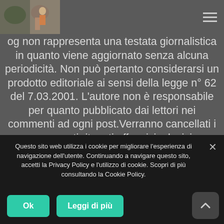[blog logo image] [hamburger menu icon]
og non rappresenta una testata giornalistica in quanto viene aggiornato senza alcuna periodicità. Non può pertanto considerarsi un prodotto editoriale ai sensi della legge n° 62 del 7.03.2001. L'autore non è responsabile per quanto pubblicato dai lettori nei commenti ad ogni post.Verranno cancellati i commenti ritenuti offensivi o lesivi dell'immagine o dell'onorabilità di terzi. Alcuni testi o immagini inserite in questo blog sono tratte da internet e, pertanto, considerate di pubblico dominio; qualora la loro pubblicazione violasse
Questo sito web utilizza i cookie per migliorare l'esperienza di navigazione dell'utente. Continuando a navigare questo sito, accetti la Privacy Policy e l'utilizzo di cookie. Scopri di più consultando la Cookie Policy.